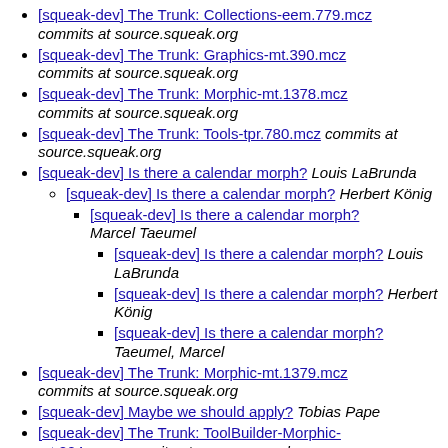[squeak-dev] The Trunk: Collections-eem.779.mcz  commits at source.squeak.org
[squeak-dev] The Trunk: Graphics-mt.390.mcz  commits at source.squeak.org
[squeak-dev] The Trunk: Morphic-mt.1378.mcz  commits at source.squeak.org
[squeak-dev] The Trunk: Tools-tpr.780.mcz  commits at source.squeak.org
[squeak-dev] Is there a calendar morph?  Louis LaBrunda
[squeak-dev] Is there a calendar morph?  Herbert König
[squeak-dev] Is there a calendar morph?  Marcel Taeumel
[squeak-dev] Is there a calendar morph?  Louis LaBrunda
[squeak-dev] Is there a calendar morph?  Herbert König
[squeak-dev] Is there a calendar morph?  Taeumel, Marcel
[squeak-dev] The Trunk: Morphic-mt.1379.mcz  commits at source.squeak.org
[squeak-dev] Maybe we should apply?  Tobias Pape
[squeak-dev] The Trunk: ToolBuilder-Morphic-mt.204.mcz  commits at source.squeak.org